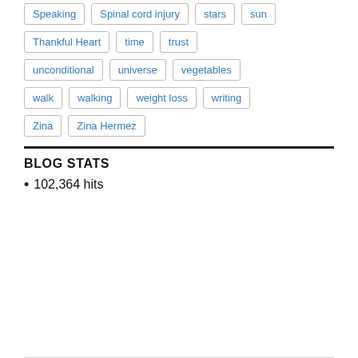Speaking
Spinal cord injury
stars
sun
Thankful Heart
time
trust
unconditional
universe
vegetables
walk
walking
weight loss
writing
Zina
Zina Hermez
BLOG STATS
102,364 hits